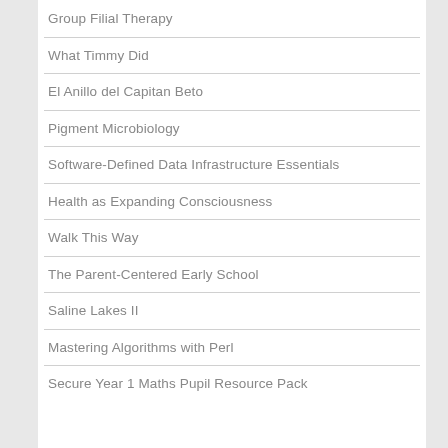Group Filial Therapy
What Timmy Did
El Anillo del Capitan Beto
Pigment Microbiology
Software-Defined Data Infrastructure Essentials
Health as Expanding Consciousness
Walk This Way
The Parent-Centered Early School
Saline Lakes II
Mastering Algorithms with Perl
Secure Year 1 Maths Pupil Resource Pack